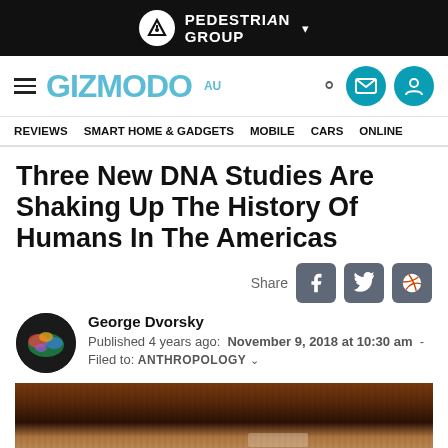PEDESTRIAN GROUP
GIZMODO AU — REVIEWS  SMART HOME & GADGETS  MOBILE  CARS  ONLINE
Three New DNA Studies Are Shaking Up The History Of Humans In The Americas
Share
George Dvorsky
Published 4 years ago:  November 9, 2018 at 10:30 am  -
Filed to:  ANTHROPOLOGY
[Figure (photo): A blurred/dark photo of what appears to be a wooden artifact or display case]